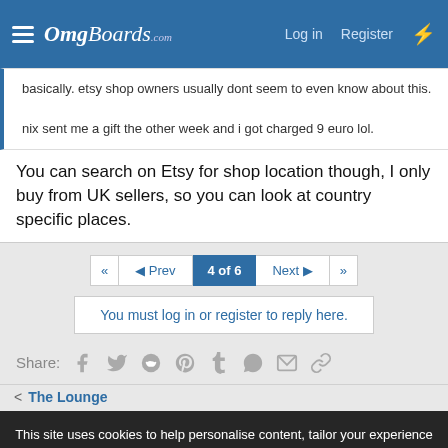OmgBoards.com — Log in | Register
basically. etsy shop owners usually dont seem to even know about this.

nix sent me a gift the other week and i got charged 9 euro lol.
You can search on Etsy for shop location though, I only buy from UK sellers, so you can look at country specific places.
◄◄  ◄ Prev  4 of 6  Next ►  ►►
You must log in or register to reply here.
Share:
< The Lounge
This site uses cookies to help personalise content, tailor your experience and to keep you logged in if you register.
By continuing to use this site, you are consenting to our use of cookies.
[Accept] [Learn more...]